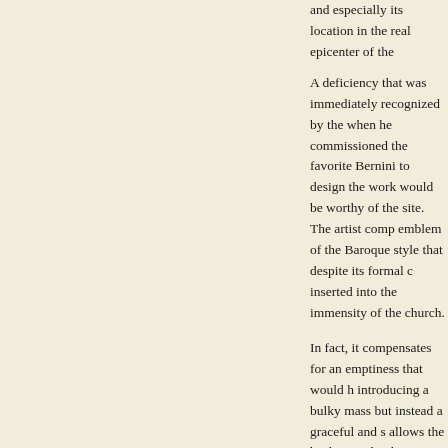and especially its location in the real epicenter of the
A deficiency that was immediately recognized by the when he commissioned the favorite Bernini to design the work would be worthy of the site. The artist comp emblem of the Baroque style that despite its formal c inserted into the immensity of the church.
In fact, it compensates for an emptiness that would h introducing a bulky mass but instead a graceful and s allows the background to be seen quite easily and de increases the latter making the apse, which can be g despite the inevitable criticism by Milizia, this specta fact involve tradition in many aspects.
In fact, Bernini refers to the traditional ciborium of the that period. To renew and avoid repeating the usual c columns, like a small temple within a temple, he was element with an architectural element. For this purpo lightweight structure that is almost mobile and tempo as bold as it was ingenious, to support his "machine" constructions that were the fashion in the 17th centu streamlined gilded bronze spiral columns, thus avoid would have produced.
He divided it into three levels: the bottom with helical populated by small putti and flying bees, the symbol other of their spiral winding, generating a dynamic ar respected an ancient tradition, because the tabernac same type, which he adopted, restoring them to the l